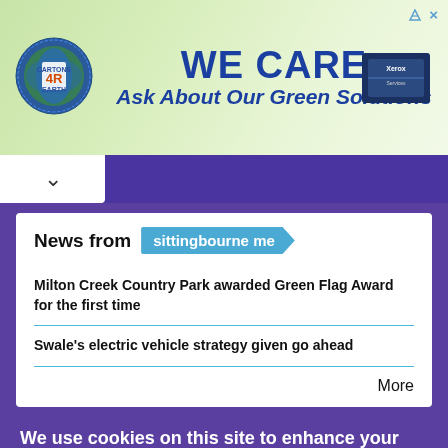[Figure (illustration): Advertisement banner: Cartons 4R Earth logo on left, text 'WE CARE Ask About Our Green Solutions' in center, Xerox/service badge on right, green leafy background]
News from sittingbourne me
Milton Creek Country Park awarded Green Flag Award for the first time
Swale's electric vehicle strategy given go ahead
More
We use cookies on this site to enhance your user experience
By clicking any link on this page you are giving your consent for us to set cookies.
OK, I agree
No, give me more info